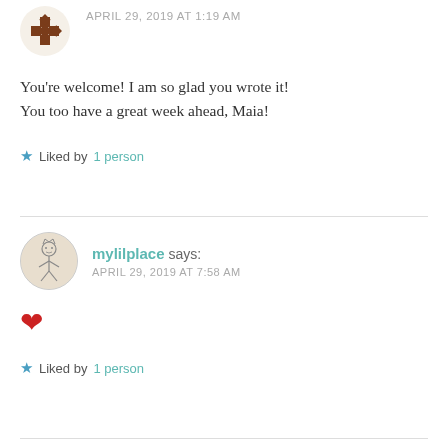[Figure (other): User avatar: geometric/snowflake brown pattern icon]
APRIL 29, 2019 AT 1:19 AM
You're welcome! I am so glad you wrote it!
You too have a great week ahead, Maia!
★ Liked by 1 person
[Figure (illustration): User avatar: hand-drawn cartoon character illustration in circular frame]
mylilplace says:
APRIL 29, 2019 AT 7:58 AM
❤
★ Liked by 1 person